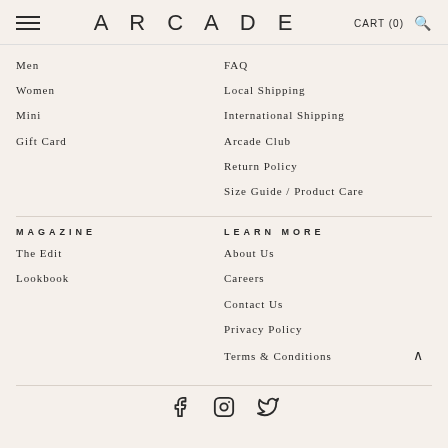ARCADE  CART (0)
Men
FAQ
Women
Local Shipping
Mini
International Shipping
Gift Card
Arcade Club
Return Policy
Size Guide / Product Care
MAGAZINE
LEARN MORE
The Edit
About Us
Lookbook
Careers
Contact Us
Privacy Policy
Terms & Conditions
[Figure (illustration): Social media icons: Facebook, Instagram, Twitter]